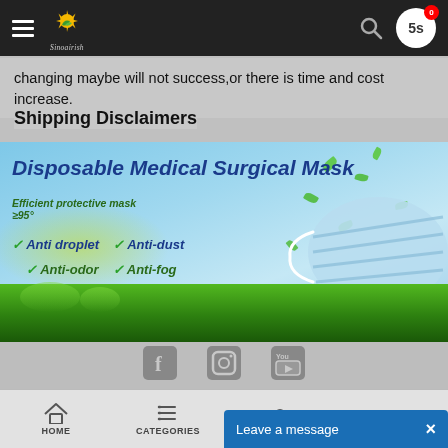Sinoairish — navigation bar with hamburger menu, logo, search icon, 5s countdown, and cart badge (0)
changing maybe will not success,or there is time and cost increase.
Shipping Disclaimers
[Figure (photo): Product banner for Disposable Medical Surgical Mask showing a light-blue surgical mask on a grassy outdoor background with floating green leaves. Text: 'Disposable Medical Surgical Mask', 'Efficient protective mask ≥95%', checkmarks for Anti droplet, Anti-dust, Anti-odor, Anti-fog.]
[Figure (infographic): Social media icons: Facebook (f), Instagram, YouTube arranged horizontally in gray area below product banner]
HOME | CATEGORIES | (cart icon) | (search icon) | Leave a message ×